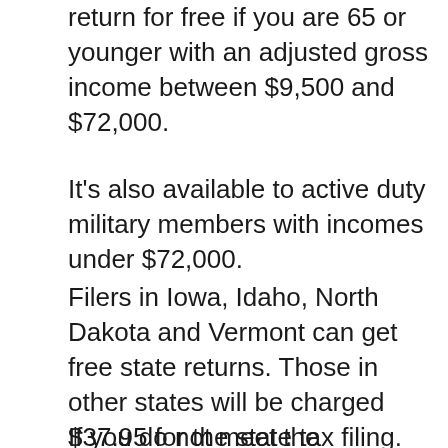return for free if you are 65 or younger with an adjusted gross income between $9,500 and $72,000.
It's also available to active duty military members with incomes under $72,000.
Filers in Iowa, Idaho, North Dakota and Vermont can get free state returns. Those in other states will be charged $37.95 for the state tax filing.
If you do not meet the qualification criteria, you will incur a fee of $44.75 to file your federal taxes and $37.95 to file